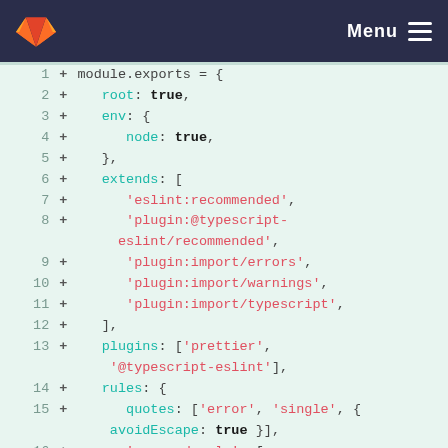GitLab navigation bar with logo and Menu
[Figure (screenshot): Code diff view showing lines 1-17 of a JavaScript/ESLint config file (module.exports) with green background additions marked with '+' signs. Lines show eslint configuration including root, env, extends, plugins, and rules settings.]